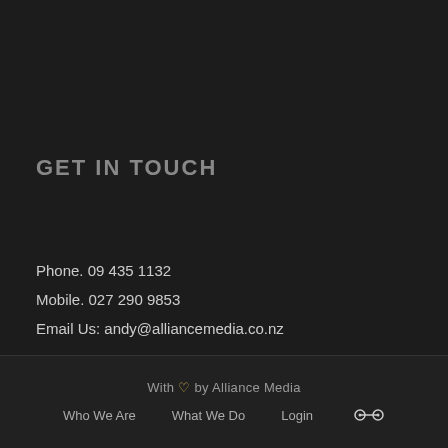GET IN TOUCH
Phone. 09 435 1132
Mobile. 027 290 9853
Email Us: andy@alliancemedia.co.nz
With ♡ by Alliance Media
Who We Are   What We Do   Login